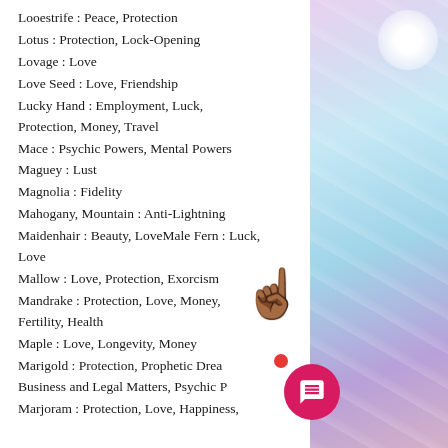Looestrife : Peace, Protection
Lotus : Protection, Lock-Opening
Lovage : Love
Love Seed : Love, Friendship
Lucky Hand : Employment, Luck, Protection, Money, Travel
Mace : Psychic Powers, Mental Powers
Maguey : Lust
Magnolia : Fidelity
Mahogany, Mountain : Anti-Lightning
Maidenhair : Beauty, LoveMale Fern : Luck, Love
Mallow : Love, Protection, Exorcism
Mandrake : Protection, Love, Money, Fertility, Health
Maple : Love, Longevity, Money
Marigold : Protection, Prophetic Dreams, Business and Legal Matters, Psychic Powers
Marjoram : Protection, Love, Happiness,
[Figure (photo): Abstract iridescent water/light texture with purple, teal, and pink tones, with a bright light flare in the upper right corner.]